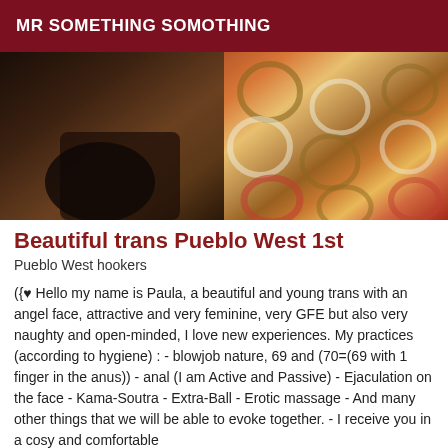MR SOMETHING SOMOTHING
[Figure (photo): A photograph showing a person on a patterned blanket/bedspread with colorful circle patterns in red, orange, green, and white. The left side shows darker tones and the right side shows the colorful bedding.]
Beautiful trans Pueblo West 1st
Pueblo West hookers
({♥ Hello my name is Paula, a beautiful and young trans with an angel face, attractive and very feminine, very GFE but also very naughty and open-minded, I love new experiences. My practices (according to hygiene) : - blowjob nature, 69 and (70=(69 with 1 finger in the anus)) - anal (I am Active and Passive) - Ejaculation on the face - Kama-Soutra - Extra-Ball - Erotic massage - And many other things that we will be able to evoke together. - I receive you in a cosy and comfortable